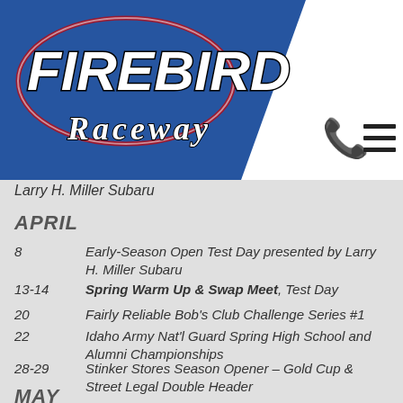[Figure (logo): Firebird Raceway logo on blue diagonal background with phone and menu icons in white area]
Larry H. Miller Subaru
APRIL
8    Early-Season Open Test Day presented by Larry H. Miller Subaru
13-14    Spring Warm Up & Swap Meet, Test Day
20    Fairly Reliable Bob's Club Challenge Series #1
22    Idaho Army Nat'l Guard Spring High School and Alumni Championships
28-29    Stinker Stores Season Opener – Gold Cup & Street Legal Double Header
MAY